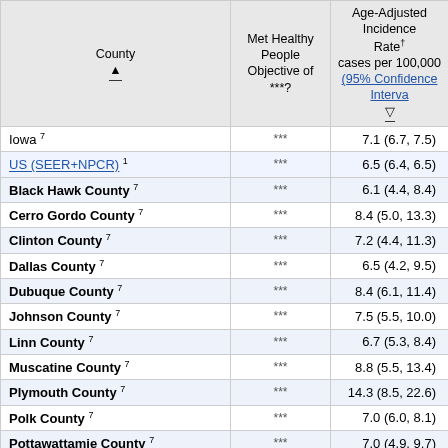| County ▲ | Met Healthy People Objective of ***? | Age-Adjusted Incidence Rate† cases per 100,000 (95% Confidence Interval) ▽ |
| --- | --- | --- |
| Iowa 7 | *** | 7.1 (6.7, 7.5) |
| US (SEER+NPCR) 1 | *** | 6.5 (6.4, 6.5) |
| Black Hawk County 7 | *** | 6.1 (4.4, 8.4) |
| Cerro Gordo County 7 | *** | 8.4 (5.0, 13.3) |
| Clinton County 7 | *** | 7.2 (4.4, 11.3) |
| Dallas County 7 | *** | 6.5 (4.2, 9.5) |
| Dubuque County 7 | *** | 8.4 (6.1, 11.4) |
| Johnson County 7 | *** | 7.5 (5.5, 10.0) |
| Linn County 7 | *** | 6.7 (5.3, 8.4) |
| Muscatine County 7 | *** | 8.8 (5.5, 13.4) |
| Plymouth County 7 | *** | 14.3 (8.5, 22.6) |
| Polk County 7 | *** | 7.0 (6.0, 8.1) |
| Pottawattamie County 7 | *** | 7.0 (4.9, 9.7) |